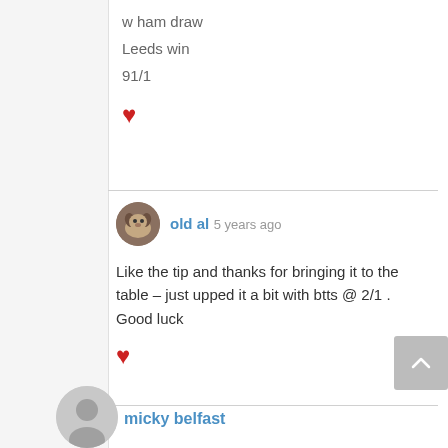w ham draw
Leeds win
91/1
♥
old al 5 years ago
Like the tip and thanks for bringing it to the table – just upped it a bit with btts @ 2/1 . Good luck
♥
micky belfast